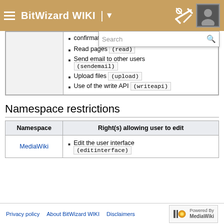BitWizard WIKI
confirmation (purge)
Read pages (read)
Send email to other users (sendemail)
Upload files (upload)
Use of the write API (writeapi)
Namespace restrictions
| Namespace | Right(s) allowing user to edit |
| --- | --- |
| MediaWiki | Edit the user interface (editinterface) |
Privacy policy   About BitWizard WIKI   Disclaimers